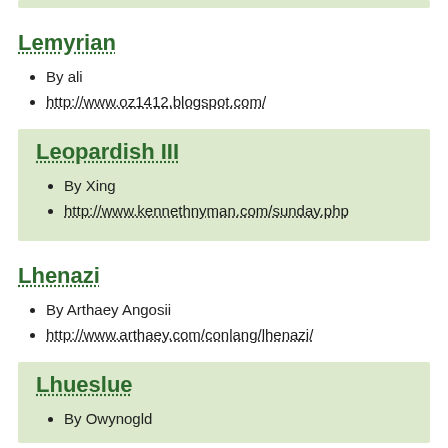Lemyrian
By ali
http://www.oz1412.blogspot.com/
Leopardish III
By Xing
http://www.kennethnyman.com/sunday.php
Lhenazi
By Arthaey Angosii
http://www.arthaey.com/conlang/lhenazi/
Lhueslue
By Owynogld